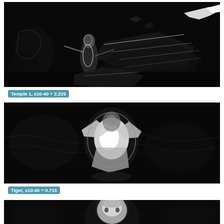[Figure (photo): Grayscale/dark image labeled Temple 1 showing a dark scene with a figure, birds, and structural elements, rendered with edge-detection or saliency visualization effect.]
Temple 1, s10-40 = 2.225
[Figure (photo): Grayscale/dark image labeled Tiger showing a figure with wings or motion blur in a dark environment, rendered with edge-detection or saliency visualization effect.]
Tiger, s10-40 = 0.715
[Figure (photo): Partial grayscale/dark image at the bottom of the page, partially cropped, showing a face or figure.]